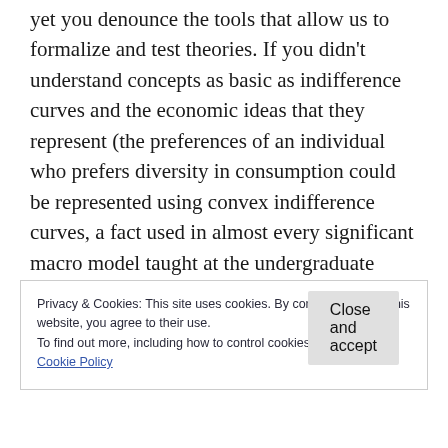yet you denounce the tools that allow us to formalize and test theories. If you didn't understand concepts as basic as indifference curves and the economic ideas that they represent (the preferences of an individual who prefers diversity in consumption could be represented using convex indifference curves, a fact used in almost every significant macro model taught at the undergraduate level), you simply did not study them enough.
Privacy & Cookies: This site uses cookies. By continuing to use this website, you agree to their use.
To find out more, including how to control cookies, see here:
Cookie Policy
Close and accept